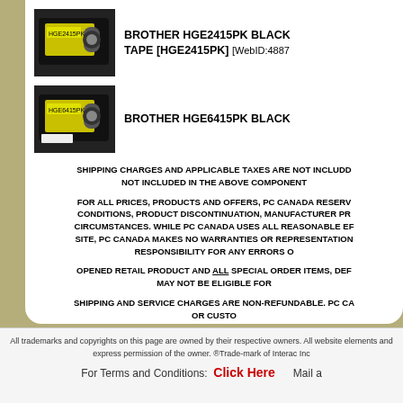[Figure (photo): Brother HGE2415PK black label tape product image]
BROTHER HGE2415PK BLACK TAPE [HGE2415PK] [WebID:4887
[Figure (photo): Brother HGE6415PK black label tape product image]
BROTHER HGE6415PK BLACK
SHIPPING CHARGES AND APPLICABLE TAXES ARE NOT INCLUDED NOT INCLUDED IN THE ABOVE COMPONENT
FOR ALL PRICES, PRODUCTS AND OFFERS, PC CANADA RESERV CONDITIONS, PRODUCT DISCONTINUATION, MANUFACTURER PR CIRCUMSTANCES. WHILE PC CANADA USES ALL REASONABLE EF SITE, PC CANADA MAKES NO WARRANTIES OR REPRESENTATION RESPONSIBILITY FOR ANY ERRORS O
OPENED RETAIL PRODUCT AND ALL SPECIAL ORDER ITEMS, DEF MAY NOT BE ELIGIBLE FOR
SHIPPING AND SERVICE CHARGES ARE NON-REFUNDABLE. PC CA OR CUSTO
All trademarks and copyrights on this page are owned by their respective owners. All website elements and express permission of the owner. ®Trade-mark of Interac Inc
For Terms and Conditions: Click Here   Mail a